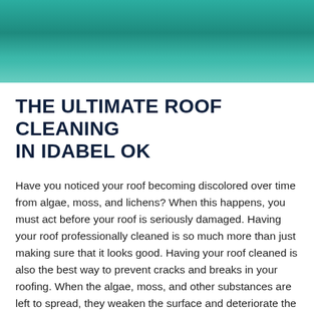[Figure (photo): Green teal roof texture or background image at the top of the page]
THE ULTIMATE ROOF CLEANING IN IDABEL OK
Have you noticed your roof becoming discolored over time from algae, moss, and lichens? When this happens, you must act before your roof is seriously damaged. Having your roof professionally cleaned is so much more than just making sure that it looks good. Having your roof cleaned is also the best way to prevent cracks and breaks in your roofing. When the algae, moss, and other substances are left to spread, they weaken the surface and deteriorate the materials. This can leave your roof exposed to the weather causing leaks and other water damaged. At Red River Softwash, we offer the ultimate Roof Cleaning in Idabel OK. Our services are the